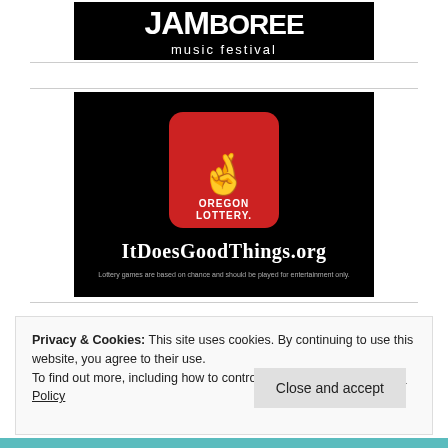[Figure (logo): JAM BOREE music festival logo — white text on black background]
[Figure (logo): Oregon Lottery advertisement — black background with red crossed-fingers logo, ItDoesGoodThings.org URL, and lottery disclaimer text]
Privacy & Cookies: This site uses cookies. By continuing to use this website, you agree to their use.
To find out more, including how to control cookies, see here: Cookie Policy
Close and accept